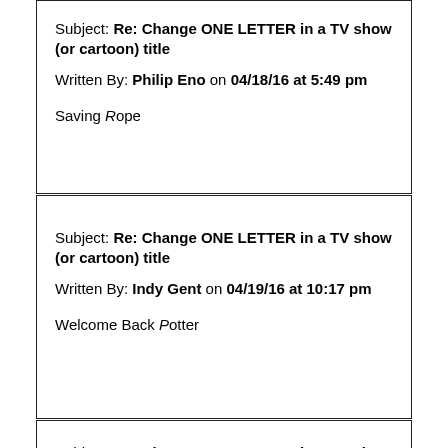Subject: Re: Change ONE LETTER in a TV show (or cartoon) title
Written By: Philip Eno on 04/18/16 at 5:49 pm
Saving Rope
Subject: Re: Change ONE LETTER in a TV show (or cartoon) title
Written By: Indy Gent on 04/19/16 at 10:17 pm
Welcome Back Potter
Subject: Re: Change ONE LETTER in a TV show (or cartoon) title
Written By: Philip Eno on 04/20/16 at 3:00